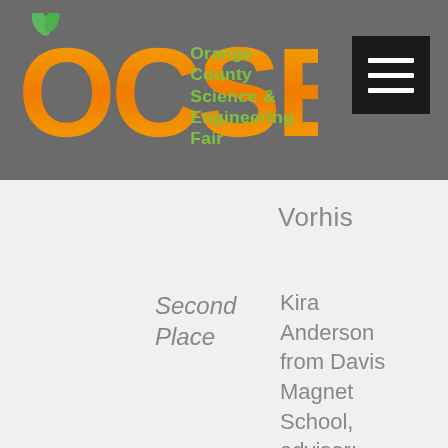[Figure (logo): OCSEF Orange County Science & Engineering Fair logo with orange letters and green leaf/fruit accents]
Vorhis
Second Place
Kira Anderson from Davis Magnet School, advisor: Pamela Br Kristin Dea from Class Conversat of A...